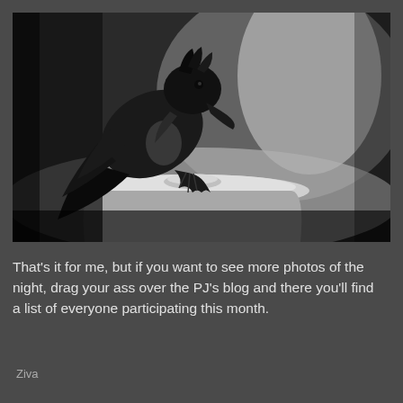[Figure (photo): Black and white close-up photograph of a crow or raven perched on top of what appears to be a trash can lid, leaning forward with its beak pointed downward.]
That's it for me, but if you want to see more photos of the night, drag your ass over the PJ's blog and there you'll find a list of everyone participating this month.
Ziva